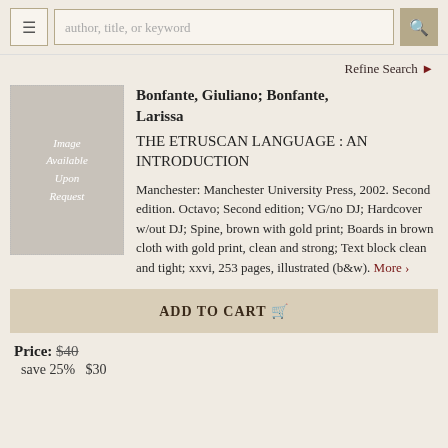author, title, or keyword — Refine Search
Refine Search
[Figure (illustration): Book image placeholder reading 'Image Available Upon Request' on grey background with dotted border]
Bonfante, Giuliano; Bonfante, Larissa
THE ETRUSCAN LANGUAGE : AN INTRODUCTION
Manchester: Manchester University Press, 2002. Second edition. Octavo; Second edition; VG/no DJ; Hardcover w/out DJ; Spine, brown with gold print; Boards in brown cloth with gold print, clean and strong; Text block clean and tight; xxvi, 253 pages, illustrated (b&w). More ›
ADD TO CART
Price: $40
save 25%   $30